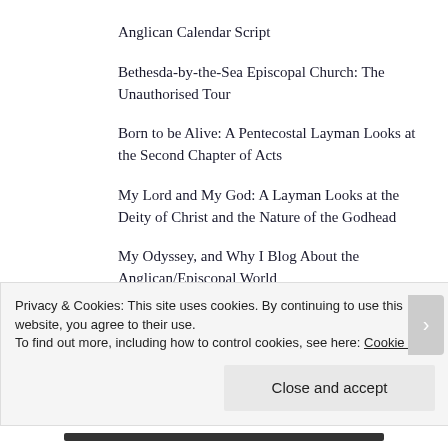Anglican Calendar Script
Bethesda-by-the-Sea Episcopal Church: The Unauthorised Tour
Born to be Alive: A Pentecostal Layman Looks at the Second Chapter of Acts
My Lord and My God: A Layman Looks at the Deity of Christ and the Nature of the Godhead
My Odyssey, and Why I Blog About the Anglican/Episcopal World
Privacy & Cookies: This site uses cookies. By continuing to use this website, you agree to their use.
To find out more, including how to control cookies, see here: Cookie Policy
Close and accept